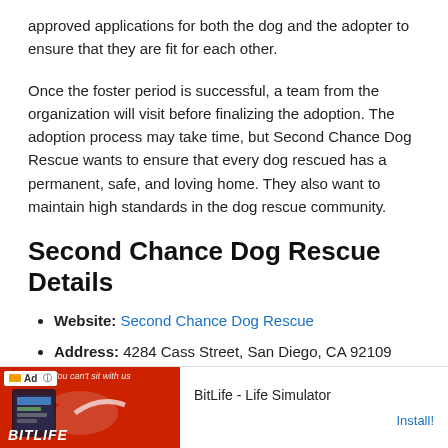approved applications for both the dog and the adopter to ensure that they are fit for each other.
Once the foster period is successful, a team from the organization will visit before finalizing the adoption. The adoption process may take time, but Second Chance Dog Rescue wants to ensure that every dog rescued has a permanent, safe, and loving home. They also want to maintain high standards in the dog rescue community.
Second Chance Dog Rescue Details
Website: Second Chance Dog Rescue
Address: 4284 Cass Street, San Diego, CA 92109
Contact Number: (858) 291-8877
Email Address: info@secondchancedogrescue.org
[Figure (other): Advertisement banner for BitLife - Life Simulator app with red background and install button]